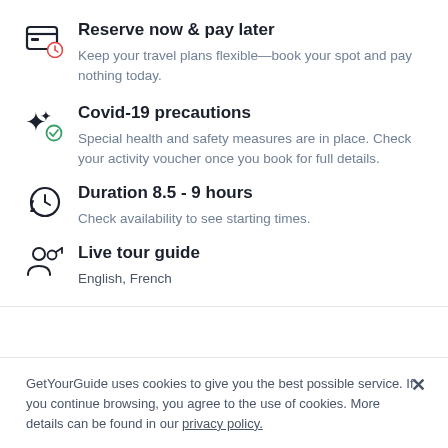Reserve now & pay later
Keep your travel plans flexible—book your spot and pay nothing today.
Covid-19 precautions
Special health and safety measures are in place. Check your activity voucher once you book for full details.
Duration 8.5 - 9 hours
Check availability to see starting times.
Live tour guide
English, French
GetYourGuide uses cookies to give you the best possible service. If you continue browsing, you agree to the use of cookies. More details can be found in our privacy policy.